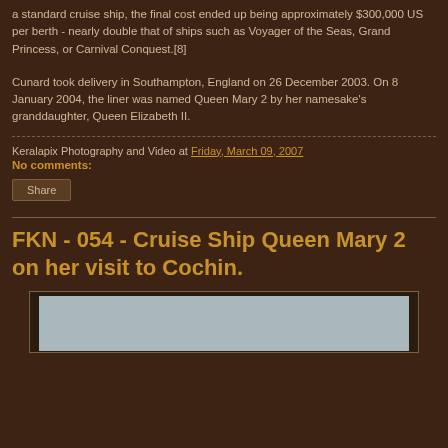a standard cruise ship, the final cost ended up being approximately $300,000 US per berth - nearly double that of ships such as Voyager of the Seas, Grand Princess, or Carnival Conquest.[8]
Cunard took delivery in Southampton, England on 26 December 2003. On 8 January 2004, the liner was named Queen Mary 2 by her namesake's granddaughter, Queen Elizabeth II.
Keralapix Photography and Video at Friday, March 09, 2007
No comments:
Share
FKN - 054 - Cruise Ship Queen Mary 2 on her visit to Cochin.
[Figure (photo): Partially visible photo of Cruise Ship Queen Mary 2, showing a grey-blue sky/sea portion]